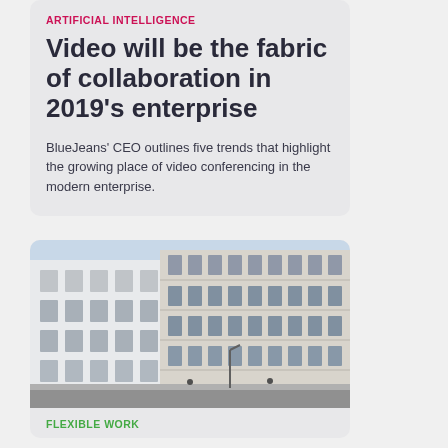ARTIFICIAL INTELLIGENCE
Video will be the fabric of collaboration in 2019's enterprise
BlueJeans' CEO outlines five trends that highlight the growing place of video conferencing in the modern enterprise.
[Figure (photo): Photograph of urban buildings — a modern white multi-story building on the left and a classical stone facade building on the right, street level view]
FLEXIBLE WORK